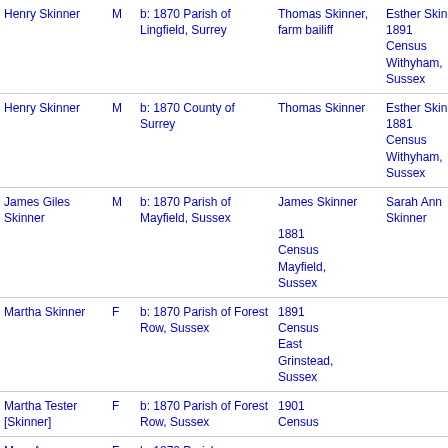| Name | Sex | Birth Info | Father/Source | Mother/Source |
| --- | --- | --- | --- | --- |
| Henry Skinner | M | b: 1870 Parish of Lingfield, Surrey | Thomas Skinner, farm bailiff | Esther Skinner
1891 Census Withyham, Sussex |
| Henry Skinner | M | b: 1870 County of Surrey | Thomas Skinner | Esther Skinner
1881 Census Withyham, Sussex |
| James Giles Skinner | M | b: 1870 Parish of Mayfield, Sussex | James Skinner
1881 Census Mayfield, Sussex | Sarah Ann Skinner |
| Martha Skinner | F | b: 1870 Parish of Forest Row, Sussex | 1891 Census East Grinstead, Sussex |  |
| Martha Tester [Skinner] | F | b: 1870 Parish of Forest Row, Sussex | 1901 Census |  |
| Mary A | F | b: 1870 Parish |  |  |